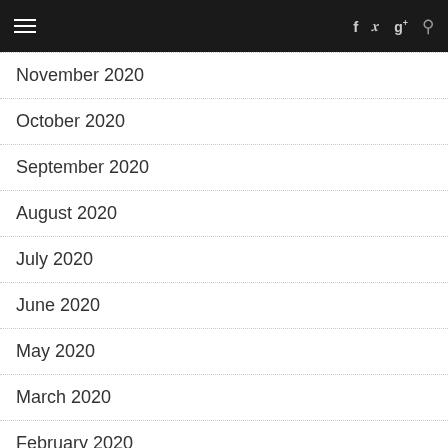Navigation bar with hamburger menu and social icons (f, twitter, g+, search)
November 2020
October 2020
September 2020
August 2020
July 2020
June 2020
May 2020
March 2020
February 2020
January 2020
December 2019
September 2019